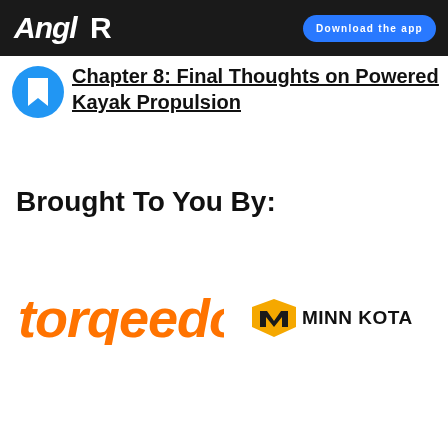AnglR | Download the app
Chapter 8: Final Thoughts on Powered Kayak Propulsion
Brought To You By:
[Figure (logo): Torqeedo logo in orange italic font]
[Figure (logo): Minn Kota logo with yellow shield icon and black text]